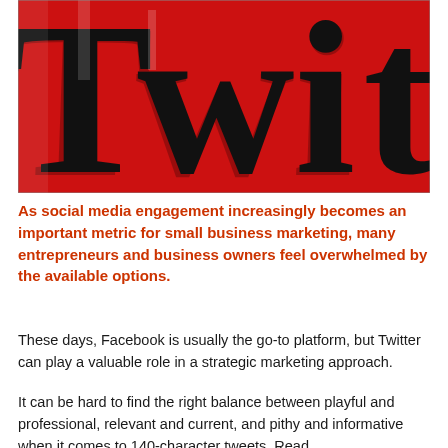[Figure (illustration): Close-up image of large black serif letters 'Twi' (beginning of 'Twitter') on a vivid red background, cropped tightly so only partial letters are visible, creating a bold graphic design effect.]
As social media engagement increasingly becomes an important metric for small business marketing, many entrepreneurs and business owners feel overwhelmed by the available options.
These days, Facebook is usually the go-to platform, but Twitter can play a valuable role in a strategic marketing approach.
It can be hard to find the right balance between playful and professional, relevant and current, and pithy and informative when it comes to 140-character tweets. Read